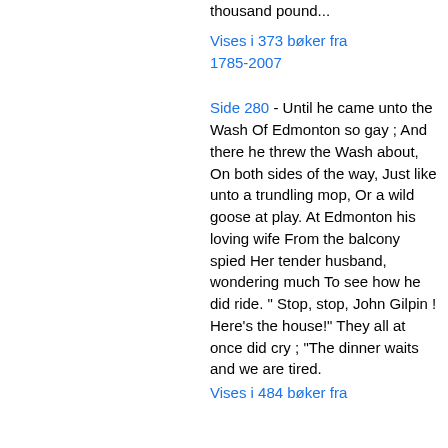thousand pound...
Vises i 373 bøker fra 1785-2007
Side 280 - Until he came unto the Wash Of Edmonton so gay ; And there he threw the Wash about, On both sides of the way, Just like unto a trundling mop, Or a wild goose at play. At Edmonton his loving wife From the balcony spied Her tender husband, wondering much To see how he did ride. " Stop, stop, John Gilpin ! Here's the house!" They all at once did cry ; "The dinner waits and we are tired.
Vises i 484 bøker fra